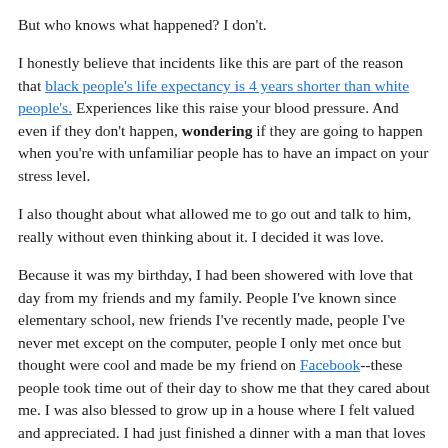But who knows what happened? I don't.
I honestly believe that incidents like this are part of the reason that black people's life expectancy is 4 years shorter than white people's. Experiences like this raise your blood pressure. And even if they don't happen, wondering if they are going to happen when you're with unfamiliar people has to have an impact on your stress level.
I also thought about what allowed me to go out and talk to him, really without even thinking about it. I decided it was love.
Because it was my birthday, I had been showered with love that day from my friends and my family. People I've known since elementary school, new friends I've recently made, people I've never met except on the computer, people I only met once but thought were cool and made be my friend on Facebook--these people took time out of their day to show me that they cared about me. I was also blessed to grow up in a house where I felt valued and appreciated. I had just finished a dinner with a man that loves and respects me. All